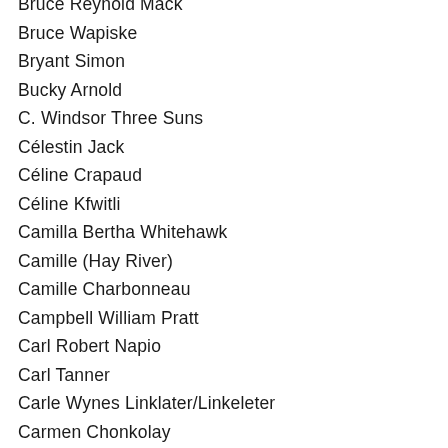Bruce Reynold Mack
Bruce Wapiske
Bryant Simon
Bucky Arnold
C. Windsor Three Suns
Célestin Jack
Céline Crapaud
Céline Kfwitli
Camilla Bertha Whitehawk
Camille (Hay River)
Camille Charbonneau
Campbell William Pratt
Carl Robert Napio
Carl Tanner
Carle Wynes Linklater/Linkeleter
Carmen Chonkolay
Caroline (Fort Providence)
Caroline Angus
Caroline Bird